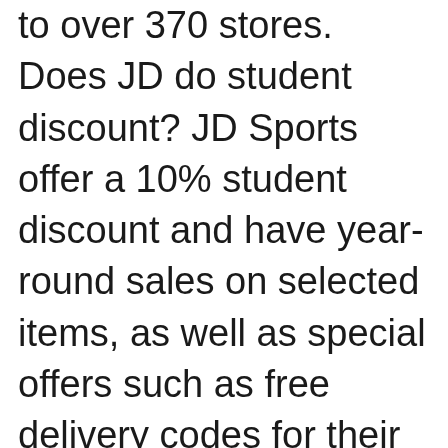to over 370 stores. Does JD do student discount? JD Sports offer a 10% student discount and have year-round sales on selected items, as well as special offers such as free delivery codes for their website, and large discounts across all their products during seasonal sales.

To cover free shipping jd sport